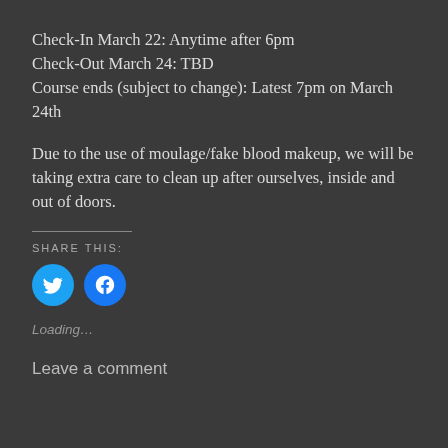Check-In March 22: Anytime after 6pm
Check-Out March 24: TBD
Course ends (subject to change): Latest 7pm on March 24th
Due to the use of moulage/fake blood makeup, we will be taking extra care to clean up after ourselves, inside and out of doors.
SHARE THIS:
[Figure (other): Twitter and Facebook share icon buttons (blue circles with white bird and f icons)]
Loading…
Leave a comment